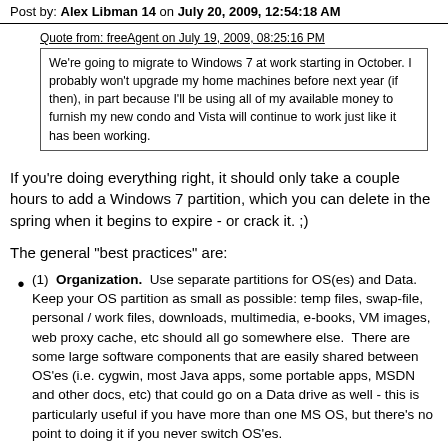Post by: Alex Libman 14 on July 20, 2009, 12:54:18 AM
Quote from: freeAgent on July 19, 2009, 08:25:16 PM
We're going to migrate to Windows 7 at work starting in October.  I probably won't upgrade my home machines before next year (if then), in part because I'll be using all of my available money to furnish my new condo and Vista will continue to work just like it has been working.
If you're doing everything right, it should only take a couple hours to add a Windows 7 partition, which you can delete in the spring when it begins to expire - or crack it.  ;)
The general "best practices" are:
(1)  Organization.  Use separate partitions for OS(es) and Data.  Keep your OS partition as small as possible: temp files, swap-file, personal / work files, downloads, multimedia, e-books, VM images, web proxy cache, etc should all go somewhere else.  There are some large software components that are easily shared between OS'es (i.e. cygwin, most Java apps, some portable apps, MSDN and other docs, etc) that could go on a Data drive as well - this is particularly useful if you have more than one MS OS, but there's no point to doing it if you never switch OS'es.
Under UNIX, your home folder should just contain links to your data drive, and things like /var/www can be a